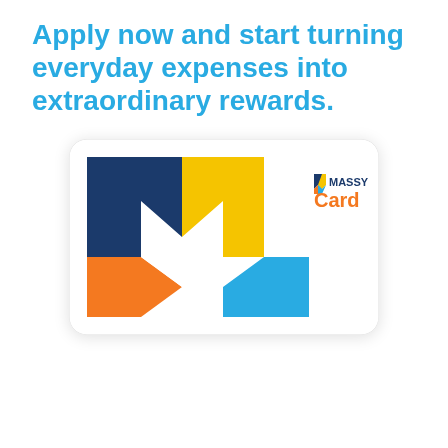Apply now and start turning everyday expenses into extraordinary rewards.
[Figure (logo): Massy Card loyalty card with colorful M logo in dark navy, yellow, orange, and light blue on white background, with MASSY Card branding in top right corner]